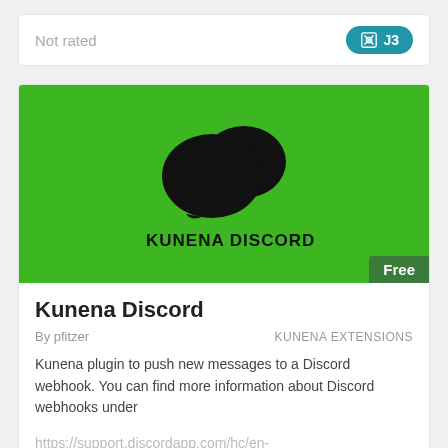Not rated
J3
[Figure (logo): Kunena Discord plugin banner on green background with chat bubble icon and KUNENA DISCORD text]
Free
Kunena Discord
By pfitzer
KUNENA EXTENSIONS
Kunena plugin to push new messages to a Discord webhook. You can find more information about Discord webhooks under https://support.discordapp.com/hc/en-